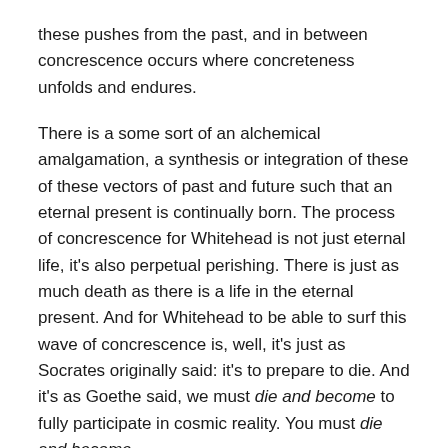these pushes from the past, and in between concrescence occurs where concreteness unfolds and endures.
There is a some sort of an alchemical amalgamation, a synthesis or integration of these of these vectors of past and future such that an eternal present is continually born. The process of concrescence for Whitehead is not just eternal life, it's also perpetual perishing. There is just as much death as there is a life in the eternal present. And for Whitehead to be able to surf this wave of concrescence is, well, it's just as Socrates originally said: it's to prepare to die. And it's as Goethe said, we must die and become to fully participate in cosmic reality. You must die and become.
So death is not something we could avoid as living